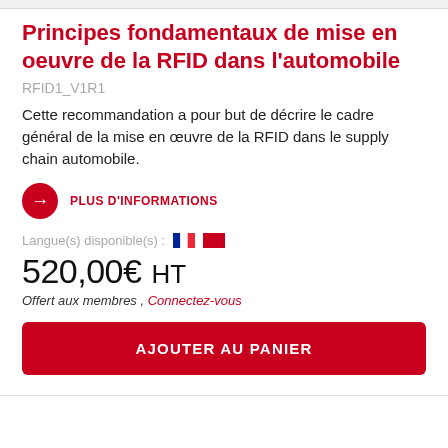Principes fondamentaux de mise en oeuvre de la RFID dans l'automobile
RFID1_V1R1
Cette recommandation a pour but de décrire le cadre général de la mise en œuvre de la RFID dans le supply chain automobile.
PLUS D'INFORMATIONS
Langue(s) disponible(s) :
520,00€   HT
Offert aux membres , Connectez-vous
AJOUTER AU PANIER